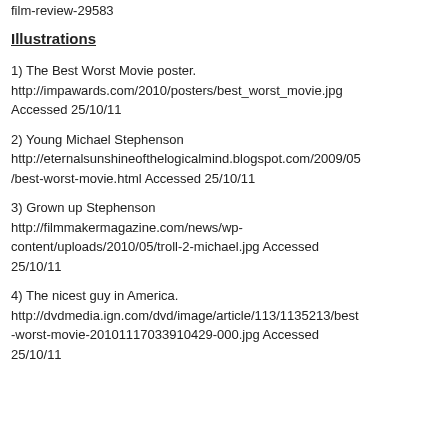film-review-29583
Illustrations
1) The Best Worst Movie poster. http://impawards.com/2010/posters/best_worst_movie.jpg Accessed 25/10/11
2) Young Michael Stephenson http://eternalsunshineofthelogicalmind.blogspot.com/2009/05/best-worst-movie.html Accessed 25/10/11
3) Grown up Stephenson http://filmmakermagazine.com/news/wp-content/uploads/2010/05/troll-2-michael.jpg Accessed 25/10/11
4) The nicest guy in America. http://dvdmedia.ign.com/dvd/image/article/113/1135213/best-worst-movie-20101117033910429-000.jpg Accessed 25/10/11